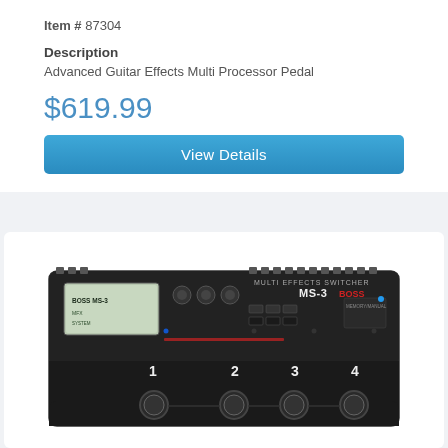Item # 87304
Description
Advanced Guitar Effects Multi Processor Pedal
$619.99
View Details
[Figure (photo): BOSS MS-3 Multi Effects Switcher guitar pedal, black unit with display screen showing 'BOSS MS-3', four footswitches numbered 1-4, multiple knobs and buttons on top panel]